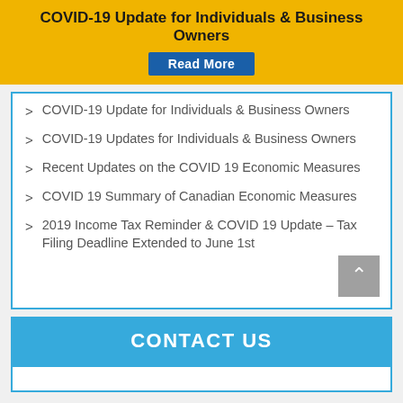COVID-19 Update for Individuals & Business Owners
COVID-19 Update for Individuals & Business Owners
COVID-19 Updates for Individuals & Business Owners
Recent Updates on the COVID 19 Economic Measures
COVID 19 Summary of Canadian Economic Measures
2019 Income Tax Reminder & COVID 19 Update – Tax Filing Deadline Extended to June 1st
CONTACT US